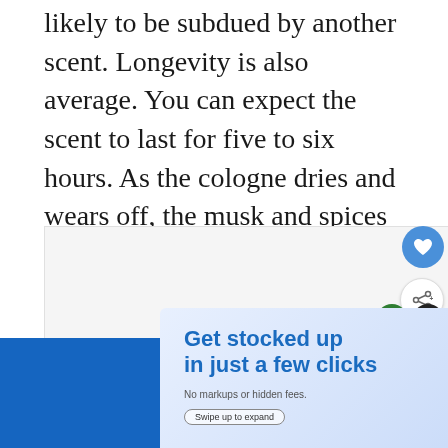likely to be subdued by another scent. Longevity is also average. You can expect the scent to last for five to six hours. As the cologne dries and wears off, the musk and spices in the base notes will become more noticeable.
[Figure (screenshot): Empty content placeholder box (light gray background)]
[Figure (screenshot): Heart/favorite circular button (blue)]
[Figure (screenshot): Share button (white circle with share icon)]
[Figure (screenshot): What's Next panel showing Burberry Brit for Men...]
[Figure (screenshot): Advertisement banner: Get stocked up in just a few clicks. No markups or hidden fees. Swipe up to expand.]